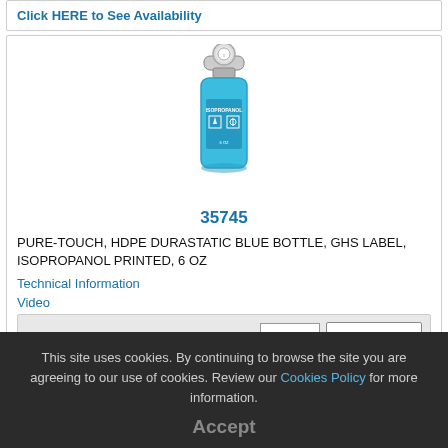Click HERE to See Availability
[Figure (photo): Blue HDPE Durastatic dispensing bottle with silver pump cap and GHS hazard label, product 35745]
35745
PURE-TOUCH, HDPE DURASTATIC BLUE BOTTLE, GHS LABEL, ISOPROPANOL PRINTED, 6 OZ
Technical Information
Video
Qty: 1   Add to Cart
Reg. Price:  1:$23.79
Internet Price:  1:$21.63
Click HERE to See Availability
This site uses cookies. By continuing to browse the site you are agreeing to our use of cookies. Review our Cookies Policy for more information.
Accept